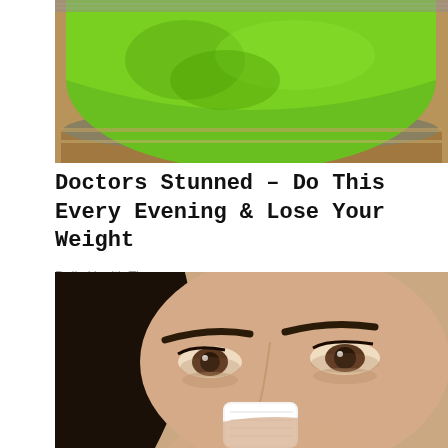[Figure (photo): Top-down view of bright green powder (matcha or similar) in a round metal container/tin, viewed from above]
Doctors Stunned – Do This Every Evening & Lose Your Weight
Daily Health Tips
[Figure (photo): Close-up selfie of a dark-haired woman applying a white tissue or cotton pad to her nose, showing her eyes and eyebrows prominently]